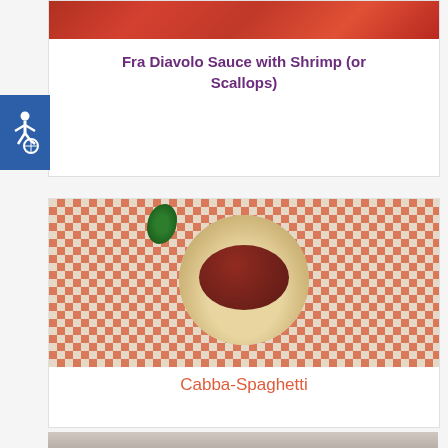[Figure (photo): Partial photo of Fra Diavolo sauce with shrimp (red/orange sauce visible at top)]
Fra Diavolo Sauce with Shrimp (or Scallops)
[Figure (photo): Photo of Cabba-Spaghetti: a plate of spaghetti topped with meat bolognese sauce, garnished with parsley, on a red and white checkered tablecloth]
Cabba-Spaghetti
[Figure (photo): Partial photo at bottom of page, gray/beige tones]